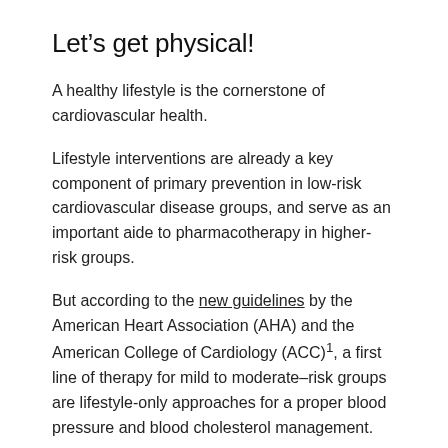Let’s get physical!
A healthy lifestyle is the cornerstone of cardiovascular health.
Lifestyle interventions are already a key component of primary prevention in low-risk cardiovascular disease groups, and serve as an important aide to pharmacotherapy in higher-risk groups.
But according to the new guidelines by the American Heart Association (AHA) and the American College of Cardiology (ACC)¹, a first line of therapy for mild to moderate–risk groups are lifestyle-only approaches for a proper blood pressure and blood cholesterol management.
As such, the next time you go to the doctor, you might